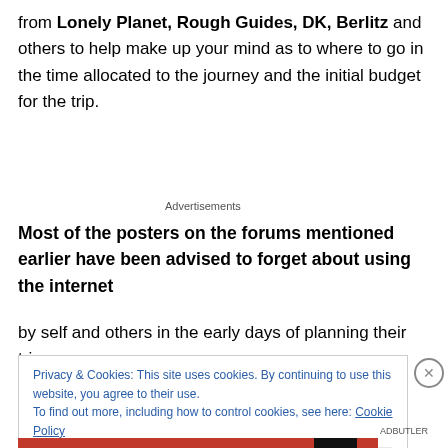from Lonely Planet, Rough Guides, DK, Berlitz and others to help make up your mind as to where to go in the time allocated to the journey and the initial budget for the trip.
Advertisements
Most of the posters on the forums mentioned earlier have been advised to forget about using the internet
by self and others in the early days of planning their trip
Privacy & Cookies: This site uses cookies. By continuing to use this website, you agree to their use.
To find out more, including how to control cookies, see here: Cookie Policy
Close and accept